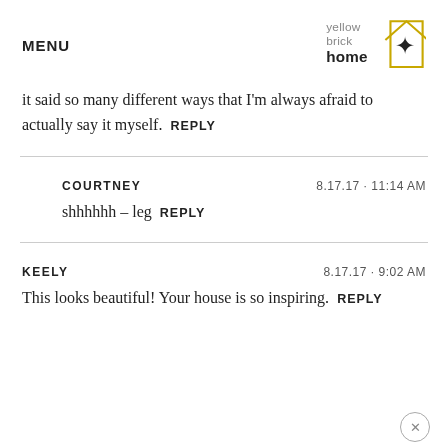MENU | yellow brick home logo
it said so many different ways that I'm always afraid to actually say it myself.  REPLY
COURTNEY  8.17.17 · 11:14 AM
shhhhhh – leg  REPLY
KEELY  8.17.17 · 9:02 AM
This looks beautiful! Your house is so inspiring.  REPLY